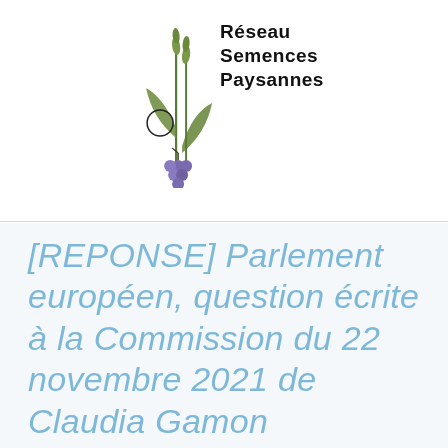[Figure (logo): Réseau Semences Paysannes logo featuring stylized wheat stalks, leaves, and grape cluster with handwritten organization name]
[REPONSE] Parlement européen, question écrite à la Commission du 22 novembre 2021 de Claudia Gamon